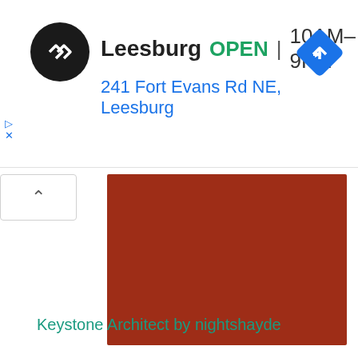[Figure (screenshot): Google Maps store info panel showing Leesburg location with black circular logo with double arrow icon, store name, open status, hours, and address. Blue diamond navigation icon top right. Ad play and close icons on left side.]
[Figure (photo): Solid dark reddish-brown rectangular image block]
Keystone Architect by nightshayde